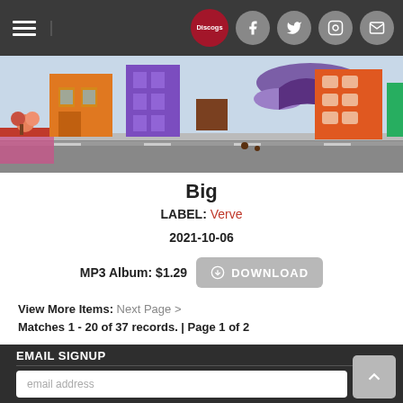Navigation bar with Discogs logo and social icons
[Figure (illustration): Cartoon cityscape with colorful buildings, streets, and oversized shoe]
Big
LABEL: Verve
2021-10-06
MP3 Album: $1.29  DOWNLOAD
View More Items: Next Page >
Matches 1 - 20 of 37 records. | Page 1 of 2
EMAIL SIGNUP
email address